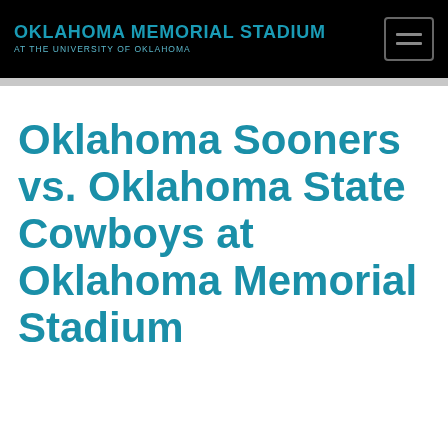OKLAHOMA MEMORIAL STADIUM AT THE UNIVERSITY OF OKLAHOMA
Oklahoma Sooners vs. Oklahoma State Cowboys at Oklahoma Memorial Stadium